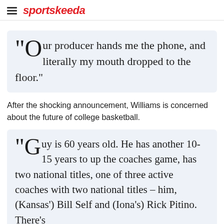sportskeeda
"Our producer hands me the phone, and literally my mouth dropped to the floor."
After the shocking announcement, Williams is concerned about the future of college basketball.
"Guy is 60 years old. He has another 10-15 years to up the coaches game, has two national titles, one of three active coaches with two national titles – him, (Kansas') Bill Self and (Iona's) Rick Pitino. There's